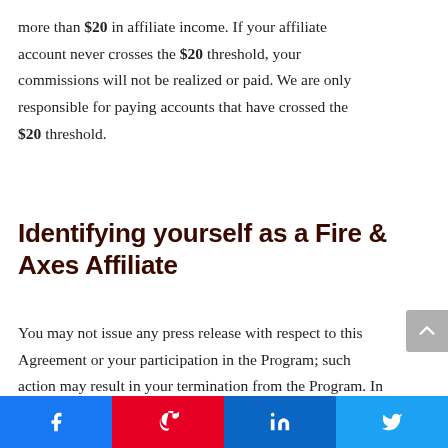more than $20 in affiliate income. If your affiliate account never crosses the $20 threshold, your commissions will not be realized or paid. We are only responsible for paying accounts that have crossed the $20 threshold.
Identifying yourself as a Fire & Axes Affiliate
You may not issue any press release with respect to this Agreement or your participation in the Program; such action may result in your termination from the Program. In addition, you may not in any manner misrepresent or